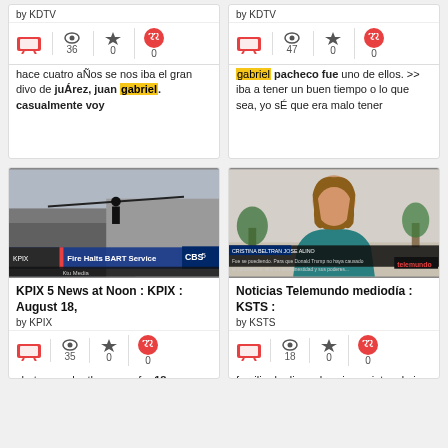by KDTV
36 views, 0 favorites, 0 quotes
hace cuatro aÑos se nos iba el gran divo de juÁrez, juan gabriel. casualmente voy
by KDTV
47 views, 0 favorites, 0 quotes
gabriel pacheco fue uno de ellos. >> iba a tener un buen tiempo o lo que sea, yo sÉ que era malo tener
[Figure (screenshot): News video screenshot showing Fire Halts BART Service - KPIX CBS 5]
KPIX 5 News at Noon : KPIX : August 18,
by KPIX
35 views, 0 favorites, 0 quotes
shotemeewho the scene for 18-year-old nathan gabriel garza. a 23-year-old martinez man has
[Figure (screenshot): News video screenshot of woman being interviewed - Noticias Telemundo mediodia KSTS]
Noticias Telemundo mediodía : KSTS :
by KSTS
18 views, 0 favorites, 0 quotes
familiar lo dieron los cinco nietos de joe biden y la oraciOn del evento estuvo a cargo del reverendo